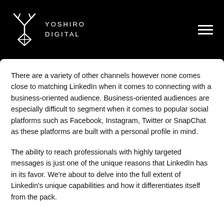YOSHIRO DIGITAL
There are a variety of other channels however none comes close to matching LinkedIn when it comes to connecting with a business-oriented audience. Business-oriented audiences are especially difficult to segment when it comes to popular social platforms such as Facebook, Instagram, Twitter or SnapChat as these platforms are built with a personal profile in mind.
The ability to reach professionals with highly targeted messages is just one of the unique reasons that LinkedIn has in its favor. We're about to delve into the full extent of Linkedin's unique capabilities and how it differentiates itself from the pack.